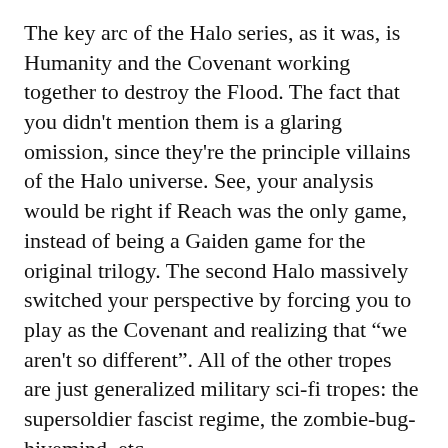The key arc of the Halo series, as it was, is Humanity and the Covenant working together to destroy the Flood. The fact that you didn't mention them is a glaring omission, since they're the principle villains of the Halo universe. See, your analysis would be right if Reach was the only game, instead of being a Gaiden game for the original trilogy. The second Halo massively switched your perspective by forcing you to play as the Covenant and realizing that "we aren't so different". All of the other tropes are just generalized military sci-fi tropes: the supersoldier fascist regime, the zombie-bug-hivemind, etc.
It's missing points like these why the more intelligent readers are disappointed whenever you bring up Halo. Your analysis are always interesting, but remain flawed by your (seeming)